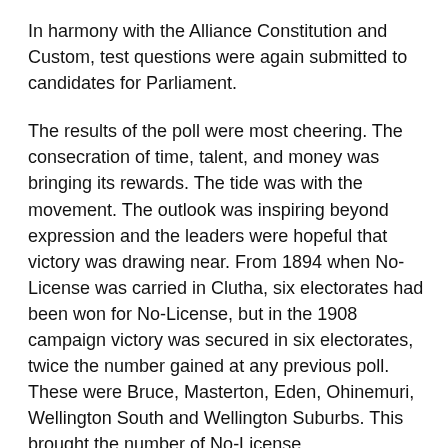In harmony with the Alliance Constitution and Custom, test questions were again submitted to candidates for Parliament.
The results of the poll were most cheering. The consecration of time, talent, and money was bringing its rewards. The tide was with the movement. The outlook was inspiring beyond expression and the leaders were hopeful that victory was drawing near. From 1894 when No-License was carried in Clutha, six electorates had been won for No-License, but in the 1908 campaign victory was secured in six electorates, twice the number gained at any previous poll. These were Bruce, Masterton, Eden, Ohinemuri, Wellington South and Wellington Suburbs. This brought the number of No-License